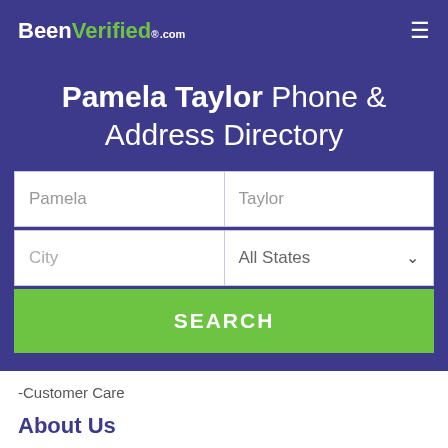BeenVerified.com
Pamela Taylor Phone & Address Directory
Pamela | Taylor
City | All States
SEARCH
-Customer Care
About Us